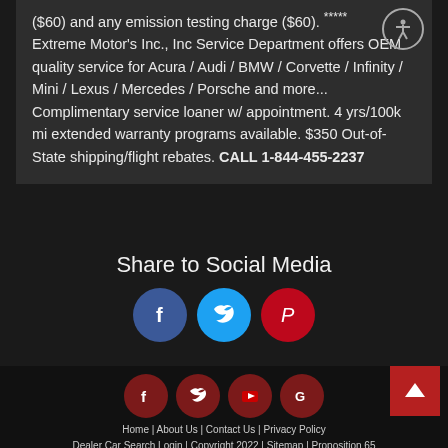($60) and any emission testing charge ($60). ***** Extreme Motor's Inc., Inc Service Department offers OEM quality service for Acura / Audi / BMW / Corvette / Infinity / Mini / Lexus / Mercedes / Porsche and more... Complimentary service loaner w/ appointment. 4 yrs/100k mi extended warranty programs available. $350 Out-of-State shipping/flight rebates. CALL 1-844-455-2237
Share to Social Media
[Figure (other): Social media share buttons: Facebook (blue circle with f), Twitter (blue circle with bird), Pinterest (red circle with P)]
[Figure (other): Footer social icons: Facebook, Twitter, YouTube, Google (all dark red circles), and a red back-to-top arrow button]
Home | About Us | Contact Us | Privacy Policy
Dealer Car Search Login | Copyright 2022 | Sitemap | Proposition 65
Extreme Motors Inc 7922 Raytheon Rd, San Diego, CA 92111 858-278-3988